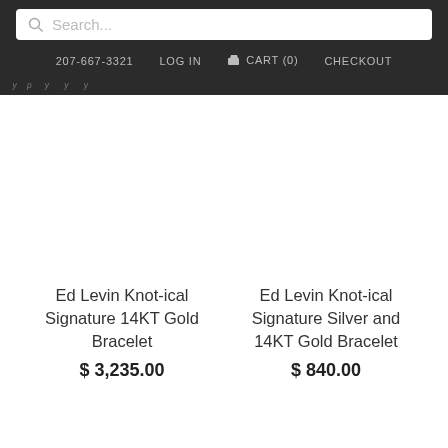Search... 207-667-3321 LOG IN CART (0) CHECKOUT
Ed Levin Knot-ical Signature 14KT Gold Bracelet
$ 3,235.00
Ed Levin Knot-ical Signature Silver and 14KT Gold Bracelet
$ 840.00